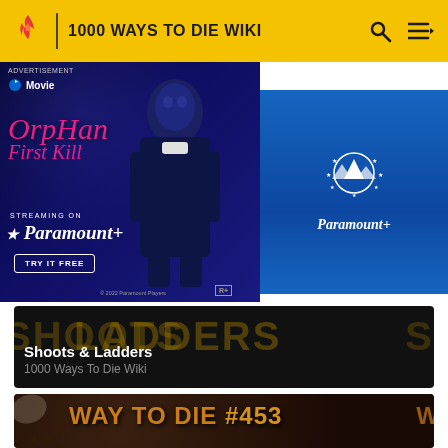1000 WAYS TO DIE WIKI
[Figure (screenshot): Advertisement for Orphan: First Kill streaming on Paramount+. Shows movie poster with person figure against blue background, pink stylized 'Orphan First Kill' text, 'Streaming on Paramount+' tagline, 'TRY IT FREE' button, and Paramount+ logo on right side.]
Shoots & Ladders
1000 Ways To Die Wiki
[Figure (screenshot): Screenshot showing 'WAY TO DIE #453' text in orange/golden letters on dark brown background, partially visible.]